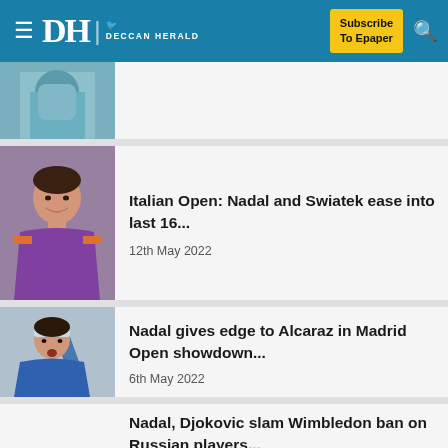DH DECCAN HERALD — Subscribe To Epaper
[Figure (photo): Partial article card with tennis player photo (cropped, top of page)]
[Figure (photo): Rafael Nadal smiling on clay court in purple shirt]
Italian Open: Nadal and Swiatek ease into last 16...
12th May 2022
[Figure (photo): Tennis player celebrating with fist pump, wearing blue shirt and headband]
Nadal gives edge to Alcaraz in Madrid Open showdown...
6th May 2022
Nadal, Djokovic slam Wimbledon ban on Russian players...